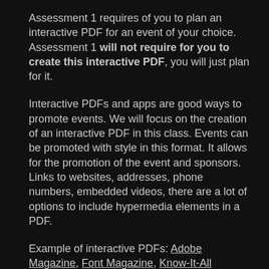Assessment 1 requires of you to plan an interactive PDF for an event of your choice. Assessment 1 will not require for you to create this interactive PDF, you will just plan for it.
Interactive PDFs and apps are good ways to promote events. We will focus on the creation of an interactive PDF in this class. Events can be promoted with style in this format. It allows for the promotion of the event and sponsors. Links to websites, addresses, phone numbers, embedded videos, there are a lot of options to include hypermedia elements in a PDF.
Example of interactive PDFs: Adobe Magazine, Font Magazine, Know-It-All Guidebook to King West, Vektoria Magazine, Blanket Magazine Revolution Art Magazine, Revolution Art Issue 40,